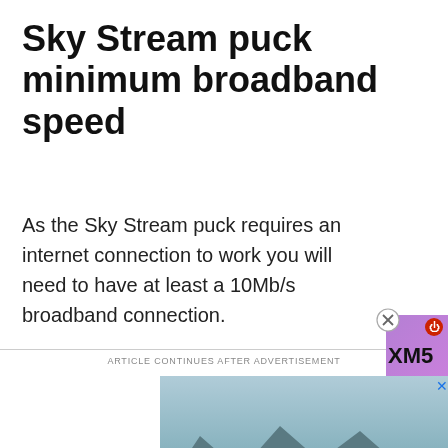Sky Stream puck minimum broadband speed
As the Sky Stream puck requires an internet connection to work you will need to have at least a 10Mb/s broadband connection.
ARTICLE CONTINUES AFTER ADVERTISEMENT
[Figure (photo): Advertisement showing headphones (XM5) on a purple background, and another ad showing a mountain landscape with a hiker and white italic text reading 'The home of adventure from sea to summit']